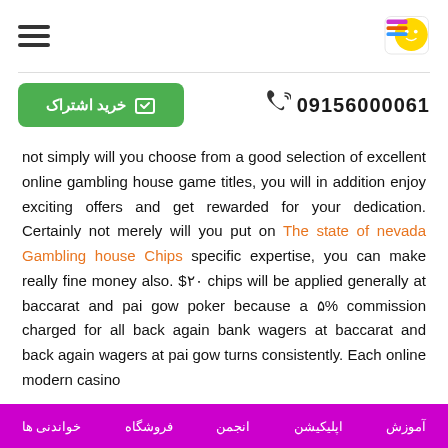hamburger menu + logo
خرید اشتراک | 09156000061
not simply will you choose from a good selection of excellent online gambling house game titles, you will in addition enjoy exciting offers and get rewarded for your dedication. Certainly not merely will you put on The state of nevada Gambling house Chips specific expertise, you can make really fine money also. $۲۰ chips will be applied generally at baccarat and pai gow poker because a ۵% commission charged for all back again bank wagers at baccarat and back again wagers at pai gow turns consistently. Each online modern casino
آموزش | اپلیکیشن | انجمن | فروشگاه | خواندنی ها